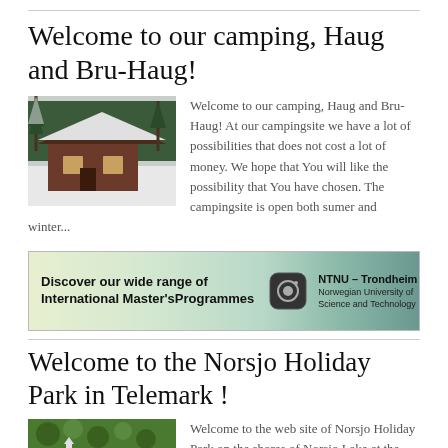Welcome to our camping, Haug and Bru-Haug!
[Figure (photo): Snow-covered log cabin with birch trees in foreground, winter scene]
Welcome to our camping, Haug and Bru-Haug! At our campingsite we have a lot of possibilities that does not cost a lot of money. We hope that You will like the possibility that You have chosen. The campingsite is open both sumer and winter...
[Figure (photo): NTNU Trondheim Norwegian University of Science and Technology banner ad reading: Discover our wide range of International Master'sProgrammes, with camera icon and green vegetable/ball image]
Welcome to the Norsjo Holiday Park in Telemark !
[Figure (photo): Aerial view of Norsjo Holiday Park showing green trees, lake, and cabin areas]
Welcome to the web site of Norsjo Holiday Park on the shores of Norsjo Lake at the